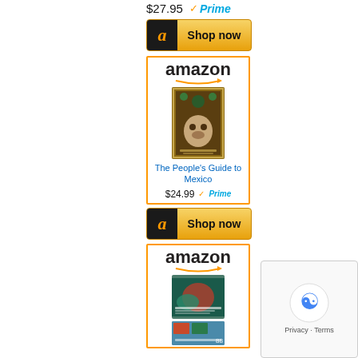$27.95
[Figure (screenshot): Amazon Prime badge with checkmark and 'Prime' text in blue]
[Figure (screenshot): Amazon 'Shop now' button with black Amazon 'a' logo on dark background and golden button]
[Figure (screenshot): Amazon widget with logo and arrow, showing book 'The People's Guide to Mexico' with ornate cover art]
The People's Guide to Mexico
$24.99
[Figure (screenshot): Amazon Prime badge]
[Figure (screenshot): Amazon 'Shop now' button]
[Figure (screenshot): Amazon widget with logo and arrow, showing book about Socialising Tourism with colorful cover]
[Figure (screenshot): reCAPTCHA overlay widget showing 'Privacy - Terms']